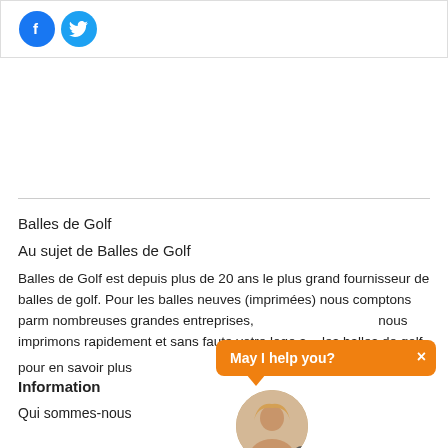[Figure (logo): Social media icons: Facebook (blue circle with f) and Twitter (blue circle with bird)]
Balles de Golf
Au sujet de Balles de Golf
Balles de Golf est depuis plus de 20 ans le plus grand fournisseur de balles de golf. Pour les balles neuves (imprimées) nous comptons parmi nombreuses grandes entreprises, notamment par que nous imprimons rapidement et sans faute votre logo sur les balles de golf.
pour en savoir plus
Information
Qui sommes-nous
[Figure (screenshot): Chat widget with orange speech bubble saying 'May I help you?' with an X close button, and a circular avatar photo of a woman with blonde hair with a close button]